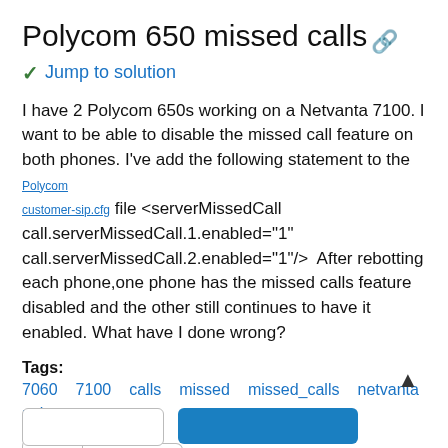Polycom 650 missed calls
Jump to solution
I have 2 Polycom 650s working on a Netvanta 7100. I want to be able to disable the missed call feature on both phones. I've add the following statement to the Polycom customer-sip.cfg file <serverMissedCall call.serverMissedCall.1.enabled="1" call.serverMissedCall.2.enabled="1"/>  After rebotting each phone,one phone has the missed calls feature disabled and the other still continues to have it enabled. What have I done wrong?
Tags:
7060
7100
calls
missed
missed_calls
netvanta
polycom
0 Kudos